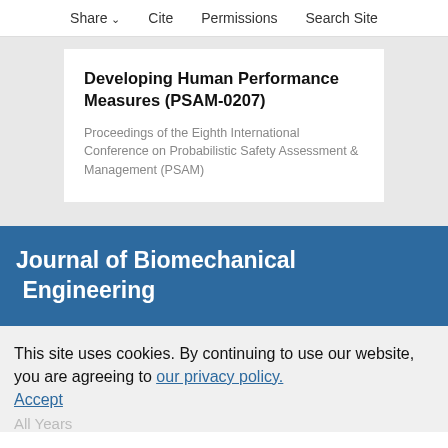Share  Cite  Permissions  Search Site
Developing Human Performance Measures (PSAM-0207)
Proceedings of the Eighth International Conference on Probabilistic Safety Assessment & Management (PSAM)
Journal of Biomechanical Engineering
This site uses cookies. By continuing to use our website, you are agreeing to our privacy policy. Accept
All Years